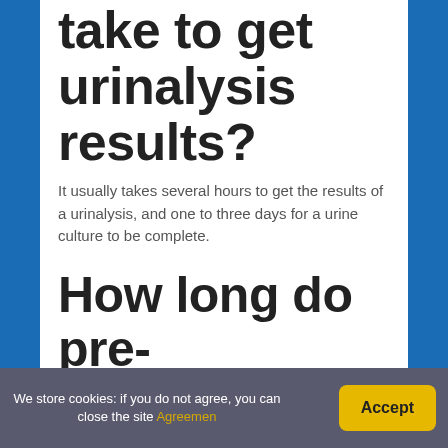take to get urinalysis results?
It usually takes several hours to get the results of a urinalysis, and one to three days for a urine culture to be complete.
How long do pre-employment tests take?
We store cookies: if you do not agree, you can close the site Agreement
Accept